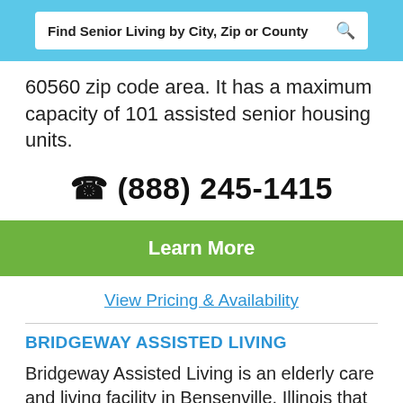Find Senior Living by City, Zip or County
60560 zip code area. It has a maximum capacity of 101 assisted senior housing units.
(888) 245-1415
Learn More
View Pricing & Availability
BRIDGEWAY ASSISTED LIVING
Bridgeway Assisted Living is an elderly care and living facility in Bensenville, Illinois that